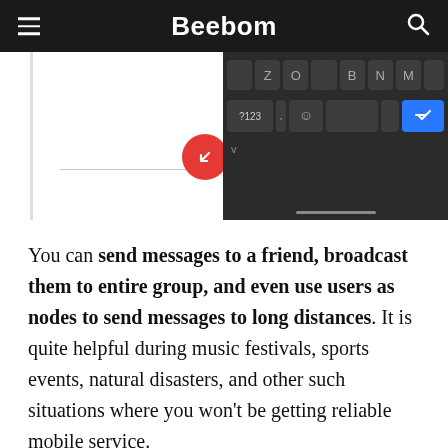Beebom
[Figure (screenshot): Partial screenshot of a smartphone keyboard interface with dark theme, showing keys and a red circular edit/compose button icon]
You can send messages to a friend, broadcast them to entire group, and even use users as nodes to send messages to long distances. It is quite helpful during music festivals, sports events, natural disasters, and other such situations where you won't be getting reliable mobile service.
In fact, Bridgefy and other such apps have become a bastion for protesters around the world as it allows